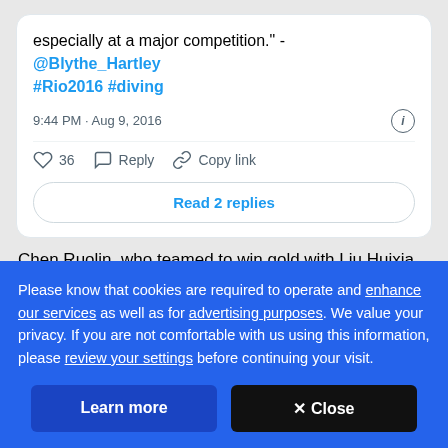especially at a major competition." - @Blythe_Hartley #Rio2016 #diving
9:44 PM · Aug 9, 2016
36  Reply  Copy link
Read 2 replies
Chen Ruolin, who teamed to win gold with Liu Huixia
Please know that cookies are required to operate and enhance our services as well as for advertising purposes. We value your privacy. If you are not comfortable with us using this information, please review your settings before continuing your visit.
Learn more
✕ Close